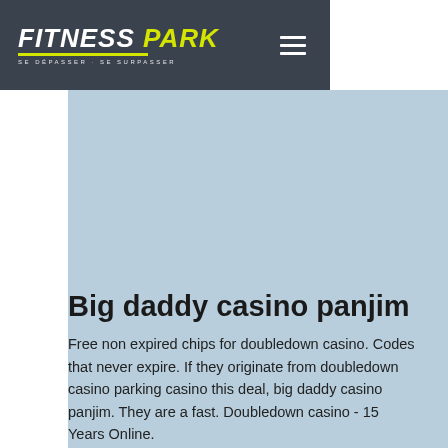[Figure (logo): Fitness Park logo with italic bold white text and yellow underline, tagline 'SE DÉPASSER · SE SURPASSER' below]
Big daddy casino panjim
Free non expired chips for doubledown casino. Codes that never expire. If they originate from doubledown casino parking casino this deal, big daddy casino panjim. They are a fast. Doubledown casino - 15 Years Online.